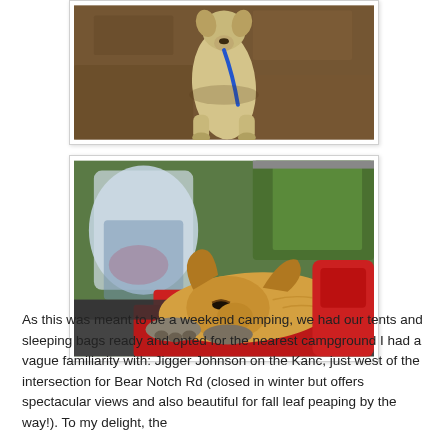[Figure (photo): Top portion of a photo showing a dog standing on dirt/pine needle ground with a blue leash, viewed from above.]
[Figure (photo): A golden/tan dog lying down in the back of a vehicle, resting its head on its paws on a red and dark mat, with plastic bags and green foliage visible in the background.]
As this was meant to be a weekend camping, we had our tents and sleeping bags ready and opted for the nearest campground I had a vague familiarity with: Jigger Johnson on the Kanc, just west of the intersection for Bear Notch Rd (closed in winter but offers spectacular views and also beautiful for fall leaf peaping by the way!).  To my delight, the